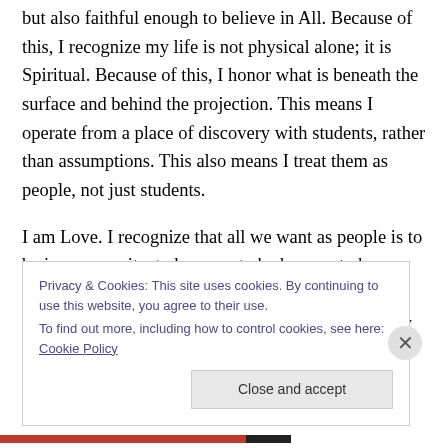but also faithful enough to believe in All. Because of this, I recognize my life is not physical alone; it is Spiritual. Because of this, I honor what is beneath the surface and behind the projection. This means I operate from a place of discovery with students, rather than assumptions. This also means I treat them as people, not just students.
I am Love. I recognize that all we want as people is to be in community, to be seen, to be known, to be safe…to be loved. In the end, to say I received Love & I gave Love… what more could there be. May my classZoom or
Privacy & Cookies: This site uses cookies. By continuing to use this website, you agree to their use.
To find out more, including how to control cookies, see here: Cookie Policy